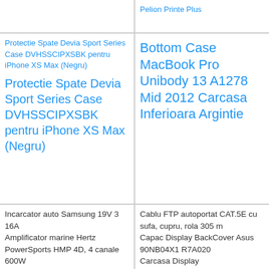[Figure (photo): Broken image placeholder for Protectie Spate Devia Sport Series Case DVHSSCIPXSBK pentru iPhone XS Max (Negru)]
Protectie Spate Devia Sport Series Case DVHSSCIPXSBK pentru iPhone XS Max (Negru)
Bottom Case MacBook Pro Unibody 13 A1278 Mid 2012 Carcasa Inferioara Argintie
Protectie Spate Devia Sport Series Case DVHSSCIPXSBK pentru iPhone XS Max (Negru)
Incarcator auto Samsung 19V 3 16A
Amplificator marine Hertz PowerSports HMP 4D, 4 canale 600W
Camera supraveghere exterior IP Sony SNC-CH280, 3 MP, 3.1 - 8.9 mm
Cablu FTP autoportat CAT.5E cu sufa, cupru, rola 305 m
Capac Display BackCover Asus 90NB04X1 R7A020
Carcasa Display
Unitate de comanda automatizare poarta batanta BENINCA HEADY